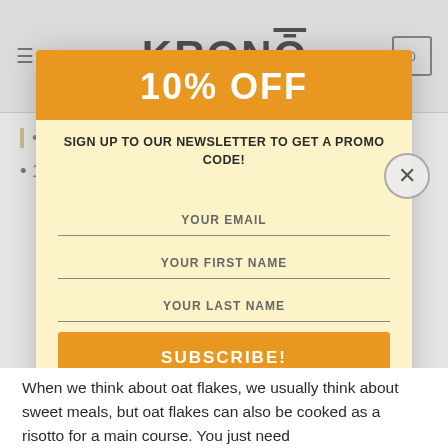KRONŌ
1 tablespoon of maple syrup
1 apple, cubed
[Figure (screenshot): Newsletter signup modal popup with '10% OFF' orange header, sign-up text, email/first name/last name fields, and SUBSCRIBE! button on yellow background]
When we think about oat flakes, we usually think about sweet meals, but oat flakes can also be cooked as a risotto for a main course. You just need